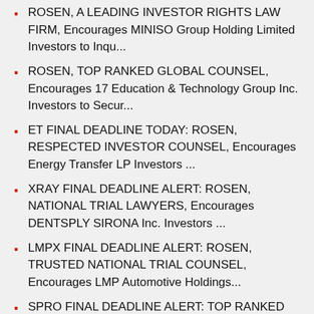ROSEN, A LEADING INVESTOR RIGHTS LAW FIRM, Encourages MINISO Group Holding Limited Investors to Inqu...
ROSEN, TOP RANKED GLOBAL COUNSEL, Encourages 17 Education & Technology Group Inc. Investors to Secur...
ET FINAL DEADLINE TODAY: ROSEN, RESPECTED INVESTOR COUNSEL, Encourages Energy Transfer LP Investors ...
XRAY FINAL DEADLINE ALERT: ROSEN, NATIONAL TRIAL LAWYERS, Encourages DENTSPLY SIRONA Inc. Investors ...
LMPX FINAL DEADLINE ALERT: ROSEN, TRUSTED NATIONAL TRIAL COUNSEL, Encourages LMP Automotive Holdings...
SPRO FINAL DEADLINE ALERT: TOP RANKED ROSEN LAW FIRM Encourages Spero Therapeutics, Inc. Investors w...